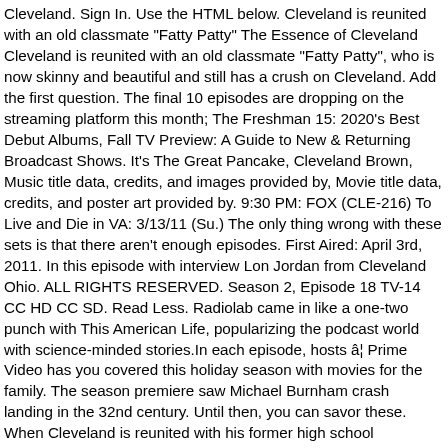Cleveland. Sign In. Use the HTML below. Cleveland is reunited with an old classmate "Fatty Patty" The Essence of Cleveland Cleveland is reunited with an old classmate "Fatty Patty", who is now skinny and beautiful and still has a crush on Cleveland. Add the first question. The final 10 episodes are dropping on the streaming platform this month; The Freshman 15: 2020's Best Debut Albums, Fall TV Preview: A Guide to New & Returning Broadcast Shows. It's The Great Pancake, Cleveland Brown, Music title data, credits, and images provided by, Movie title data, credits, and poster art provided by. 9:30 PM: FOX (CLE-216) To Live and Die in VA: 3/13/11 (Su.) The only thing wrong with these sets is that there aren't enough episodes. First Aired: April 3rd, 2011. In this episode with interview Lon Jordan from Cleveland Ohio. ALL RIGHTS RESERVED. Season 2, Episode 18 TV-14 CC HD CC SD. Read Less. Radiolab came in like a one-two punch with This American Life, popularizing the podcast world with science-minded stories.In each episode, hosts â¦ Prime Video has you covered this holiday season with movies for the family. The season premiere saw Michael Burnham crash landing in the 32nd century. Until then, you can savor these. When Cleveland is reunited with his former high school classmate, "Fatty Patty," who is now skinny, beautiful and still has a crush on